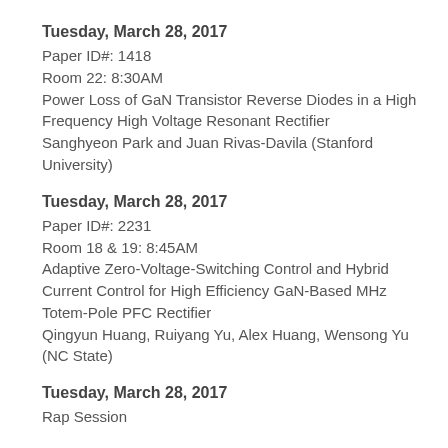Tuesday, March 28, 2017
Paper ID#: 1418
Room 22: 8:30AM
Power Loss of GaN Transistor Reverse Diodes in a High Frequency High Voltage Resonant Rectifier
Sanghyeon Park and Juan Rivas-Davila (Stanford University)
Tuesday, March 28, 2017
Paper ID#: 2231
Room 18 & 19: 8:45AM
Adaptive Zero-Voltage-Switching Control and Hybrid Current Control for High Efficiency GaN-Based MHz Totem-Pole PFC Rectifier
Qingyun Huang, Ruiyang Yu, Alex Huang, Wensong Yu (NC State)
Tuesday, March 28, 2017
Rap Session